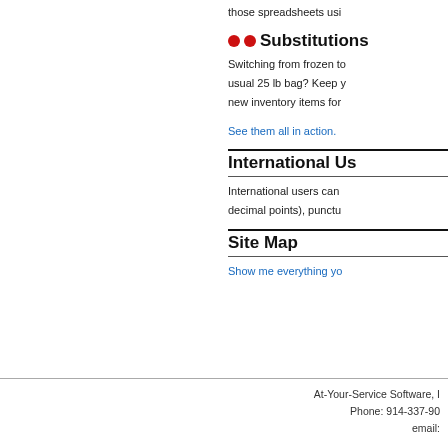those spreadsheets usi
Substitutions
Switching from frozen to usual 25 lb bag? Keep y new inventory items for
See them all in action.
International Us
International users can decimal points), punctu
Site Map
Show me everything yo
At-Your-Service Software, I Phone: 914-337-90 email: